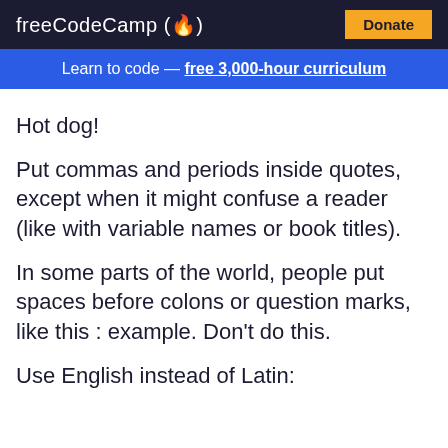freeCodeCamp(🔥)  Donate
Learn to code — free 3,000-hour curriculum
Hot dog!
Put commas and periods inside quotes, except when it might confuse a reader (like with variable names or book titles).
In some parts of the world, people put spaces before colons or question marks, like this : example. Don't do this.
Use English instead of Latin: